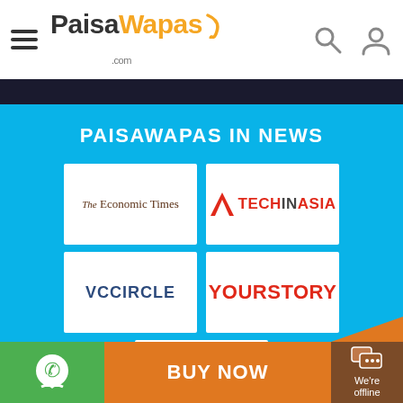PaisaWapas.com
PAISAWAPAS IN NEWS
[Figure (logo): The Economic Times logo - serif text on white background]
[Figure (logo): TechInAsia logo - red arrow and red/black text on white background]
[Figure (logo): VCCircle logo - dark blue text on white background]
[Figure (logo): YourStory logo - red bold text on white background]
[Figure (logo): Inc42 logo - black Inc and red 42 on white background]
BUY NOW